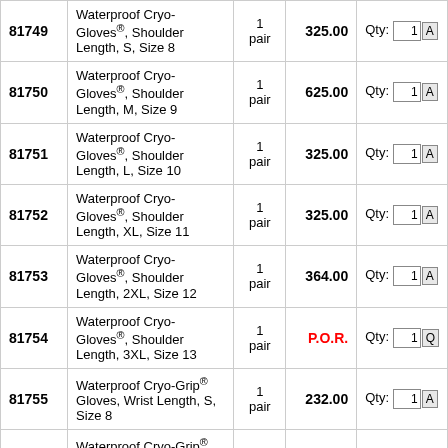| SKU | Description | Qty | Price | Order |
| --- | --- | --- | --- | --- |
| 81749 | Waterproof Cryo-Gloves®, Shoulder Length, S, Size 8 | 1 pair | 325.00 | Qty: 1 A |
| 81750 | Waterproof Cryo-Gloves®, Shoulder Length, M, Size 9 | 1 pair | 625.00 | Qty: 1 A |
| 81751 | Waterproof Cryo-Gloves®, Shoulder Length, L, Size 10 | 1 pair | 325.00 | Qty: 1 A |
| 81752 | Waterproof Cryo-Gloves®, Shoulder Length, XL, Size 11 | 1 pair | 325.00 | Qty: 1 A |
| 81753 | Waterproof Cryo-Gloves®, Shoulder Length, 2XL, Size 12 | 1 pair | 364.00 | Qty: 1 A |
| 81754 | Waterproof Cryo-Gloves®, Shoulder Length, 3XL, Size 13 | 1 pair | P.O.R. | Qty: 1 Q |
| 81755 | Waterproof Cryo-Grip® Gloves, Wrist Length, S, Size 8 | 1 pair | 232.00 | Qty: 1 A |
| 81756 | Waterproof Cryo-Grip® Gloves, Wrist Length, M, Size 9 | 1 pair | 232.00 | Qty: 1 A |
| 81757 | Waterproof Cryo-Grip® Gloves, Wrist Length, L, Size 10 | 1 pair | 232.00 | Qty: 1 A |
| 81758 | Waterproof Cryo-Grip® Gloves, Wrist Length, XL, Size 11 | 1 pair | 226.00 | Qty: 1 A |